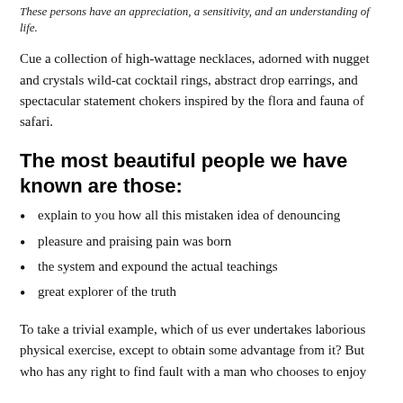These persons have an appreciation, a sensitivity, and an understanding of life.
Cue a collection of high-wattage necklaces, adorned with nugget and crystals wild-cat cocktail rings, abstract drop earrings, and spectacular statement chokers inspired by the flora and fauna of safari.
The most beautiful people we have known are those:
explain to you how all this mistaken idea of denouncing
pleasure and praising pain was born
the system and expound the actual teachings
great explorer of the truth
To take a trivial example, which of us ever undertakes laborious physical exercise, except to obtain some advantage from it? But who has any right to find fault with a man who chooses to enjoy